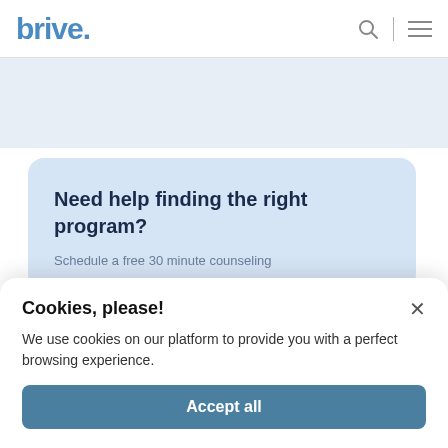brive.
Need help finding the right program?
Schedule a free 30 minute counseling
Cookies, please!
We use cookies on our platform to provide you with a perfect browsing experience.
Accept all